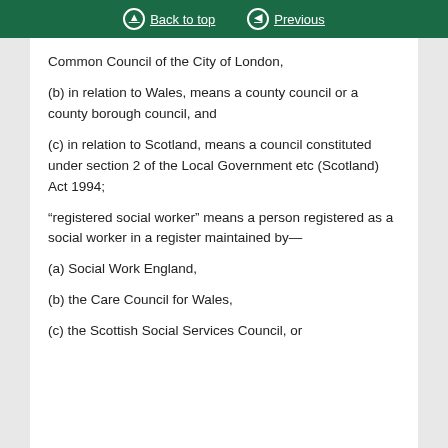Back to top | Previous
Common Council of the City of London,
(b) in relation to Wales, means a county council or a county borough council, and
(c) in relation to Scotland, means a council constituted under section 2 of the Local Government etc (Scotland) Act 1994;
“registered social worker” means a person registered as a social worker in a register maintained by—
(a) Social Work England,
(b) the Care Council for Wales,
(c) the Scottish Social Services Council, or